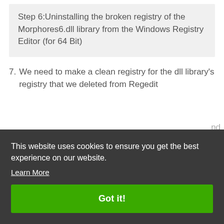Step 6:Uninstalling the broken registry of the Morphores6.dll library from the Windows Registry Editor (for 64 Bit)
7. We need to make a clean registry for the dll library's registry that we deleted from Regedit
This website uses cookies to ensure you get the best experience on our website.
Learn More
Got it!